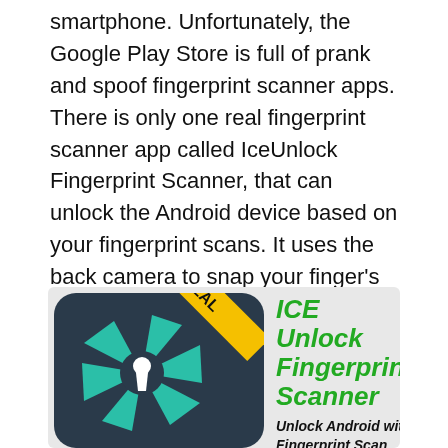smartphone. Unfortunately, the Google Play Store is full of prank and spoof fingerprint scanner apps. There is only one real fingerprint scanner app called IceUnlock Fingerprint Scanner, that can unlock the Android device based on your fingerprint scans. It uses the back camera to snap your finger's pictures and use them to find your fingerprints and identify you. After saving your fingerprint scans, it can be used to unlock your device by scanning your finger through the camera.
[Figure (illustration): App promotional image for ICE Unlock Fingerprint Scanner. Left side shows a dark app icon with teal aperture/camera blades and a keyhole, with a yellow diagonal 'REAL' banner. Right side shows green bold italic text 'ICE Unlock Fingerprint Scanner' and below in black bold italic 'Unlock Android with Fingerprint Scan...']